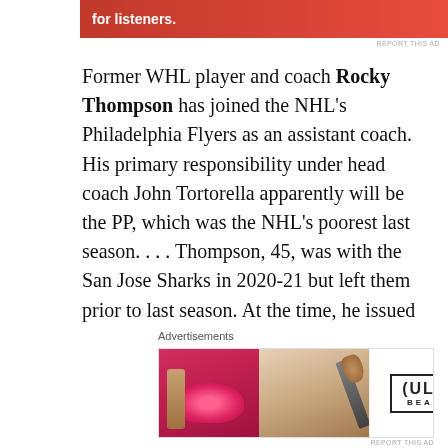[Figure (other): Red advertisement banner at top with text 'for listeners.' and a phone/speaker graphic]
Former WHL player and coach Rocky Thompson has joined the NHL's Philadelphia Flyers as an assistant coach. His primary responsibility under head coach John Tortorella apparently will be the PP, which was the NHL's poorest last season. . . . Thompson, 45, was with the San Jose Sharks in 2020-21 but left them prior to last season. At the time, he issued this statement: “Due to a medical exemption that prevents me from taking the COVID-19 vaccine, under the new league
Advertisements
[Figure (other): ULTA Beauty advertisement banner with makeup imagery and SHOP NOW call to action]